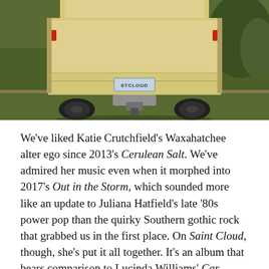[Figure (photo): Rear view of a pickup truck with a 'STCLOUD' license plate, parked on a dirt road surrounded by grass and greenery.]
We've liked Katie Crutchfield's Waxahatchee alter ego since 2013's Cerulean Salt. We've admired her music even when it morphed into 2017's Out in the Storm, which sounded more like an update to Juliana Hatfield's late '80s power pop than the quirky Southern gothic rock that grabbed us in the first place. On Saint Cloud, though, she's put it all together. It's an album that bears comparison to Lucinda Williams' Car Wheels on a Gravel Road, which even schoolchildren know got four stars from Christgau and comparisons to Born To Run. Crutchfield has a sweet voice, and she really understands both pop